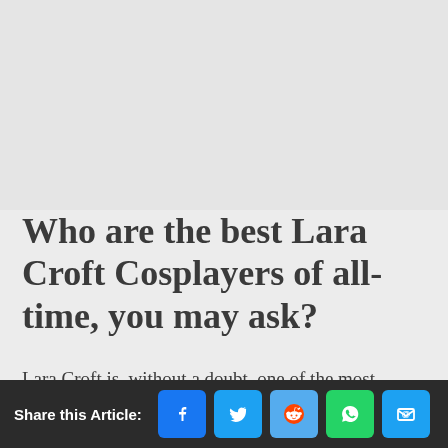[Figure (photo): Large image placeholder at top of article (light gray area)]
Who are the best Lara Croft Cosplayers of all-time, you may ask?
Lara Croft is, without a doubt, one of the most recognized characters of all time.
Share this Article: [Facebook] [Twitter] [Reddit] [WhatsApp] [Email]